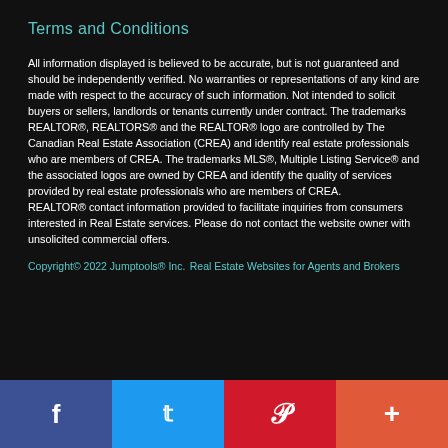Terms and Conditions
All information displayed is believed to be accurate, but is not guaranteed and should be independently verified. No warranties or representations of any kind are made with respect to the accuracy of such information. Not intended to solicit buyers or sellers, landlords or tenants currently under contract. The trademarks REALTOR®, REALTORS® and the REALTOR® logo are controlled by The Canadian Real Estate Association (CREA) and identify real estate professionals who are members of CREA. The trademarks MLS®, Multiple Listing Service® and the associated logos are owned by CREA and identify the quality of services provided by real estate professionals who are members of CREA.
REALTOR® contact information provided to facilitate inquiries from consumers interested in Real Estate services. Please do not contact the website owner with unsolicited commercial offers.
Copyright© 2022 Jumptools® Inc.
Real Estate Websites for Agents and Brokers